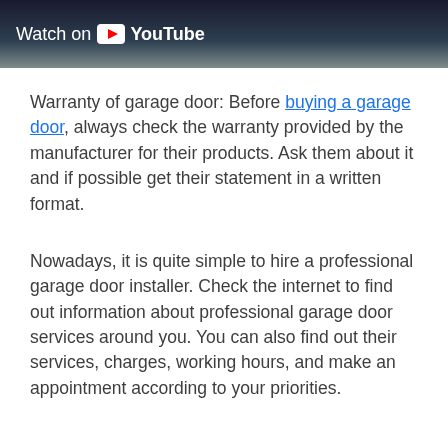[Figure (screenshot): YouTube video thumbnail banner showing 'Watch on YouTube' overlay with YouTube logo on a dark background with a person partially visible]
Warranty of garage door: Before buying a garage door, always check the warranty provided by the manufacturer for their products. Ask them about it and if possible get their statement in a written format.
Nowadays, it is quite simple to hire a professional garage door installer. Check the internet to find out information about professional garage door services around you. You can also find out their services, charges, working hours, and make an appointment according to your priorities.